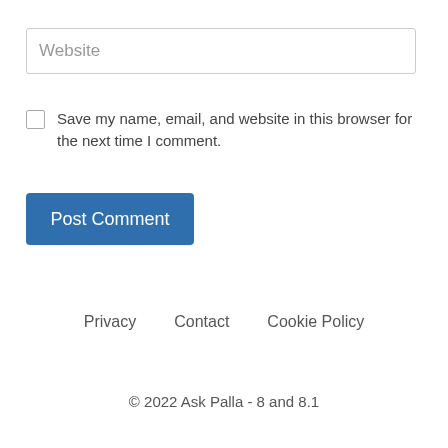[Figure (screenshot): A website URL input field with placeholder text 'Website', styled with a light gray border]
Save my name, email, and website in this browser for the next time I comment.
[Figure (screenshot): A blue 'Post Comment' button]
Privacy   Contact   Cookie Policy
© 2022 Ask Palla - 8 and 8.1